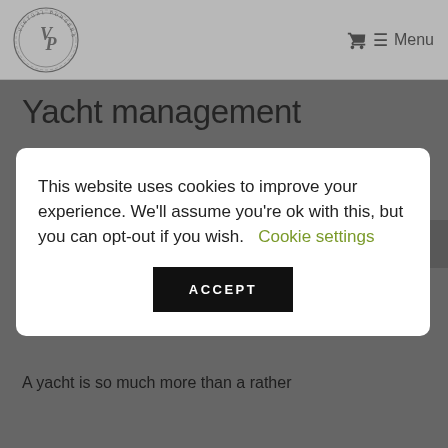Virtual Pursers — Menu
Yacht management
This website uses cookies to improve your experience. We'll assume you're ok with this, but you can opt-out if you wish.  Cookie settings  ACCEPT
[Figure (photo): Yachts moored at a marina, aerial view of luxury vessels docked in a harbor]
A yacht is so much more than a rather